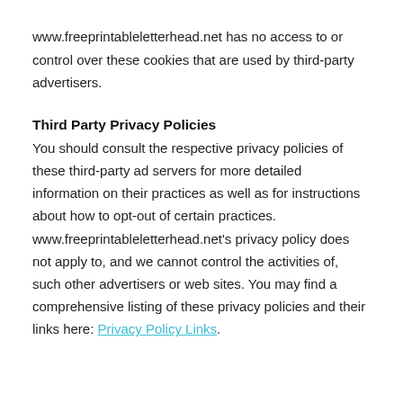www.freeprintableletterhead.net has no access to or control over these cookies that are used by third-party advertisers.
Third Party Privacy Policies
You should consult the respective privacy policies of these third-party ad servers for more detailed information on their practices as well as for instructions about how to opt-out of certain practices. www.freeprintableletterhead.net's privacy policy does not apply to, and we cannot control the activities of, such other advertisers or web sites. You may find a comprehensive listing of these privacy policies and their links here: Privacy Policy Links.